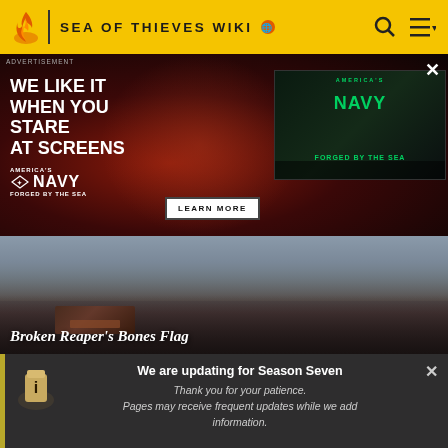SEA OF THIEVES WIKI
[Figure (photo): US Navy advertisement banner. Dark red background with a woman wearing glasses looking at a screen. Text reads: WE LIKE IT WHEN YOU STARE AT SCREENS. America's Navy - Forged by the Sea. Learn More button. Right side shows a secondary Navy video thumbnail.]
[Figure (photo): Sea of Thieves game screenshot showing a dark ship scene with a barrel or crate object. Title overlay reads: Broken Reaper's Bones Flag]
We are updating for Season Seven
Thank you for your patience.
Pages may receive frequent updates while we add information.